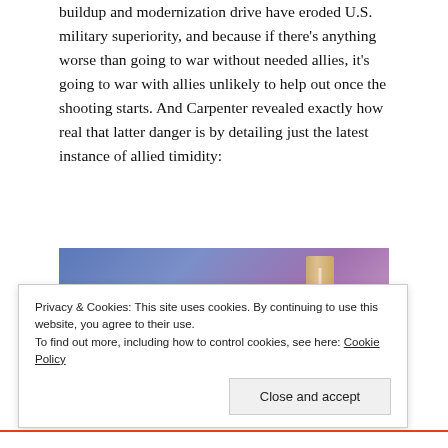buildup and modernization drive have eroded U.S. military superiority, and because if there's anything worse than going to war without needed allies, it's going to war with allies unlikely to help out once the shooting starts. And Carpenter revealed exactly how real that latter danger is by detailing just the latest instance of allied timidity:
[Figure (illustration): Partial view of a book cover with blue-to-purple gradient background and a tan/gold book spine visible on the right side]
Privacy & Cookies: This site uses cookies. By continuing to use this website, you agree to their use.
To find out more, including how to control cookies, see here: Cookie Policy
Close and accept